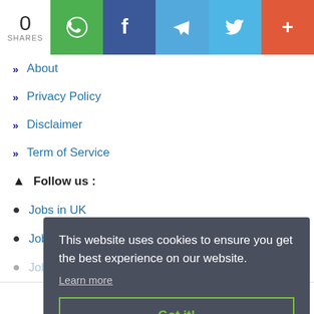[Figure (infographic): Social share bar showing 0 shares with WhatsApp, Facebook, Telegram, Twitter, and more buttons]
About
Privacy Policy
Disclaimer
Term of Service
Follow us :
Jobs in UK
Jobs in Canada
This website uses cookies to ensure you get the best experience on our website. Learn more Got it!